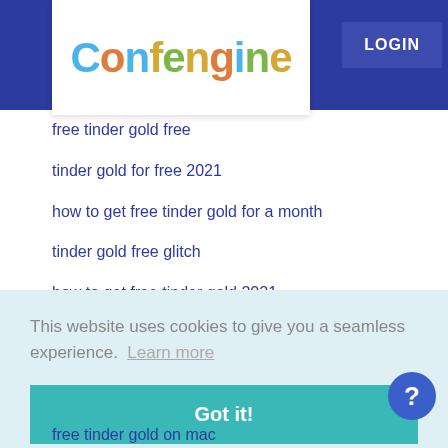Confengine LOGIN
free tinder gold free
tinder gold for free 2021
how to get free tinder gold for a month
tinder gold free glitch
how to get free tinder gold 2021
how to get free tinder gold 2019
gold.online-tinder-free gold
how to get free tinder gold 2021 reddit
This website uses cookies to give you a seamless experience.  Learn more
Got it!
free tinder gold on mac